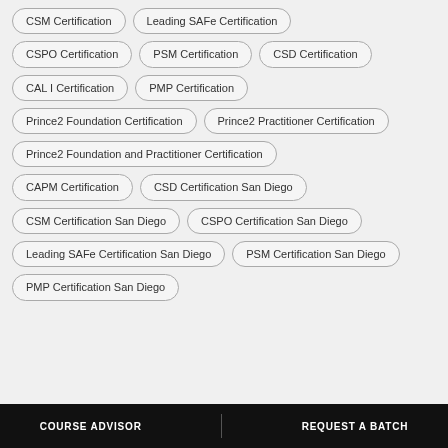CSM Certification
Leading SAFe Certification
CSPO Certification
PSM Certification
CSD Certification
CAL I Certification
PMP Certification
Prince2 Foundation Certification
Prince2 Practitioner Certification
Prince2 Foundation and Practitioner Certification
CAPM Certification
CSD Certification San Diego
CSM Certification San Diego
CSPO Certification San Diego
Leading SAFe Certification San Diego
PSM Certification San Diego
PMP Certification San Diego
COURSE ADVISOR | REQUEST A BATCH